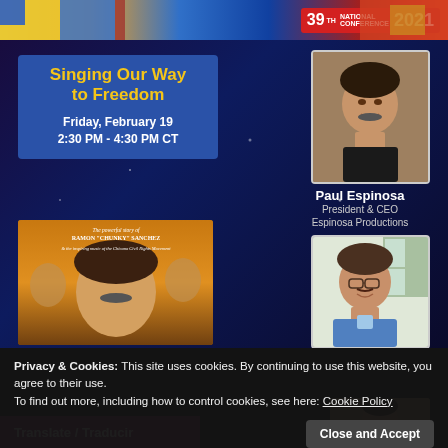[Figure (infographic): 39th National Conference 2021 event promotional graphic with colorful top banner, blue event box, speaker photos, and movie poster for 'Singing Our Way to Freedom' session with Paul Espinosa, President & CEO Espinosa Productions]
Singing Our Way to Freedom
Friday, February 19
2:30 PM - 4:30 PM CT
Paul Espinosa
President & CEO
Espinosa Productions
Privacy & Cookies: This site uses cookies. By continuing to use this website, you agree to their use.
To find out more, including how to control cookies, see here: Cookie Policy
Close and Accept
Translate / Traducir